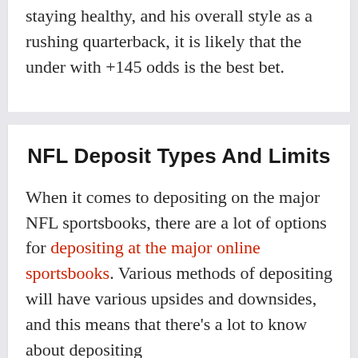staying healthy, and his overall style as a rushing quarterback, it is likely that the under with +145 odds is the best bet.
NFL Deposit Types And Limits
When it comes to depositing on the major NFL sportsbooks, there are a lot of options for depositing at the major online sportsbooks. Various methods of depositing will have various upsides and downsides, and this means that there's a lot to know about depositing